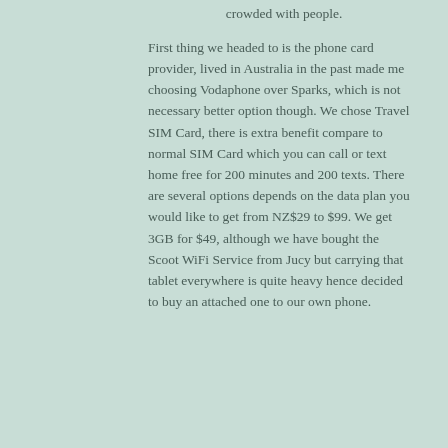crowded with people.
First thing we headed to is the phone card provider, lived in Australia in the past made me choosing Vodaphone over Sparks, which is not necessary better option though. We chose Travel SIM Card, there is extra benefit compare to normal SIM Card which you can call or text home free for 200 minutes and 200 texts. There are several options depends on the data plan you would like to get from NZ$29 to $99. We get 3GB for $49, although we have bought the Scoot WiFi Service from Jucy but carrying that tablet everywhere is quite heavy hence decided to buy an attached one to our own phone.